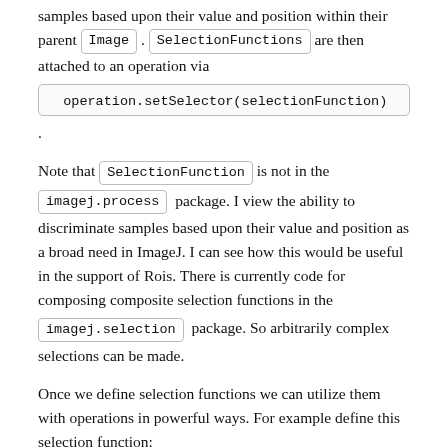samples based upon their value and position within their parent Image . SelectionFunctions are then attached to an operation via operation.setSelector(selectionFunction) .
Note that SelectionFunction is not in the imagej.process package. I view the ability to discriminate samples based upon their value and position as a broad need in ImageJ. I can see how this would be useful in the support of Rois. There is currently code for composing composite selection functions in the imagej.selection package. So arbitrarily complex selections can be made.
Once we define selection functions we can utilize them with operations in powerful ways. For example define this selection function:
[Figure (screenshot): Code block showing: class Selector implements SelectionFunction {]